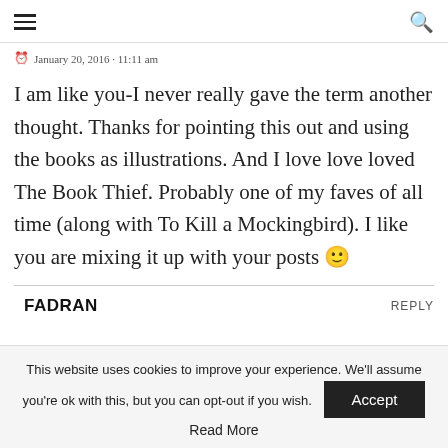≡  🔍
January 20, 2016 · 11:11 am
I am like you-I never really gave the term another thought. Thanks for pointing this out and using the books as illustrations. And I love love loved The Book Thief. Probably one of my faves of all time (along with To Kill a Mockingbird). I like you are mixing it up with your posts 🙂
FADRAN
REPLY
This website uses cookies to improve your experience. We'll assume you're ok with this, but you can opt-out if you wish. Accept Read More